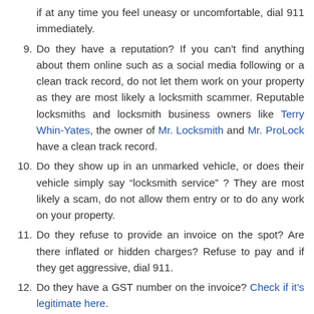if at any time you feel uneasy or uncomfortable, dial 911 immediately.
9. Do they have a reputation? If you can't find anything about them online such as a social media following or a clean track record, do not let them work on your property as they are most likely a locksmith scammer. Reputable locksmiths and locksmith business owners like Terry Whin-Yates, the owner of Mr. Locksmith and Mr. ProLock have a clean track record.
10. Do they show up in an unmarked vehicle, or does their vehicle simply say “locksmith service” ? They are most likely a scam, do not allow them entry or to do any work on your property.
11. Do they refuse to provide an invoice on the spot? Are there inflated or hidden charges? Refuse to pay and if they get aggressive, dial 911.
12. Do they have a GST number on the invoice? Check if it’s legitimate here.
13. Do they list their locksmiths on their website like on a team page with their name and pictures like we do with locksmith Vancouver? If not, you have to wonder why and what they’re hiding.